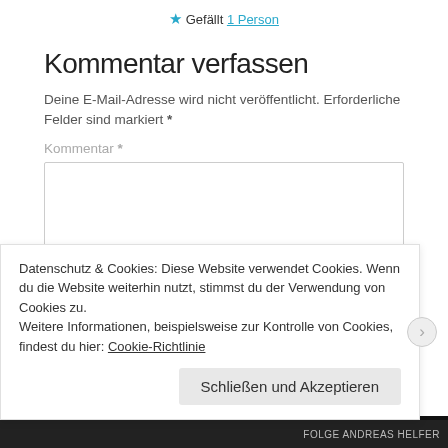★ Gefällt 1 Person
Kommentar verfassen
Deine E-Mail-Adresse wird nicht veröffentlicht. Erforderliche Felder sind markiert *
Kommentar *
Datenschutz & Cookies: Diese Website verwendet Cookies. Wenn du die Website weiterhin nutzt, stimmst du der Verwendung von Cookies zu.
Weitere Informationen, beispielsweise zur Kontrolle von Cookies, findest du hier: Cookie-Richtlinie
Schließen und Akzeptieren